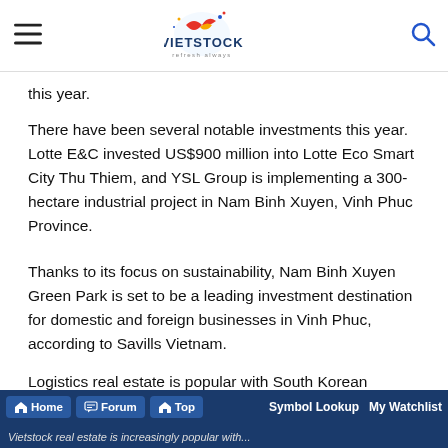Vietstock — refresh always
this year.
There have been several notable investments this year. Lotte E&C invested US$900 million into Lotte Eco Smart City Thu Thiem, and YSL Group is implementing a 300-hectare industrial project in Nam Binh Xuyen, Vinh Phuc Province.
Thanks to its focus on sustainability, Nam Binh Xuyen Green Park is set to be a leading investment destination for domestic and foreign businesses in Vinh Phuc, according to Savills Vietnam.
Logistics real estate is popular with South Korean investors, especially those looking to develop cold storage or smart warehouses.
Home  Forum  Top  Symbol Lookup  My Watchlist  Vietstock real estate is increasingly popular with...